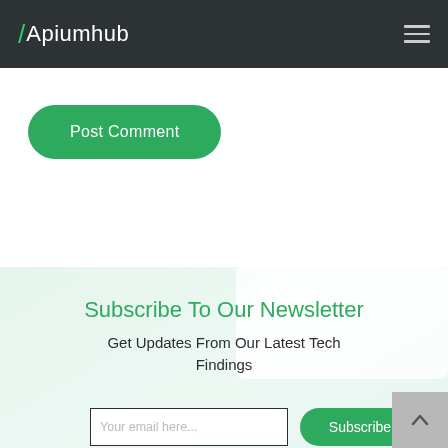Apiumhub
Post Comment
Subscribe To Our Newsletter
Get Updates From Our Latest Tech Findings
Subscribe